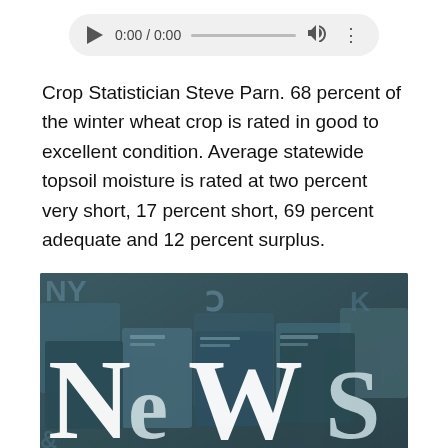[Figure (screenshot): Audio player widget showing 0:00 / 0:00 with play button, progress bar, volume and more icons on a grey rounded background]
Crop Statistician Steve Parn. 68 percent of the winter wheat crop is rated in good to excellent condition. Average statewide topsoil moisture is rated at two percent very short, 17 percent short, 69 percent adequate and 12 percent surplus.
[Figure (photo): Dark teal/grey photograph of metal letterpress type blocks spelling out 'NeWS' in white serif letters against a background of scattered metal type blocks]